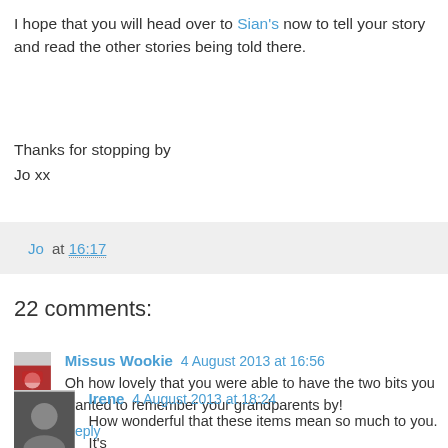I hope that you will head over to Sian's now to tell your story and read the other stories being told there.
Thanks for stopping by
Jo xx
Jo at 16:17
22 comments:
Missus Wookie 4 August 2013 at 16:56
Oh how lovely that you were able to have the two bits you wanted to remember your grandparents by!
Reply
Irene 4 August 2013 at 18:24
How wonderful that these items mean so much to you. It's